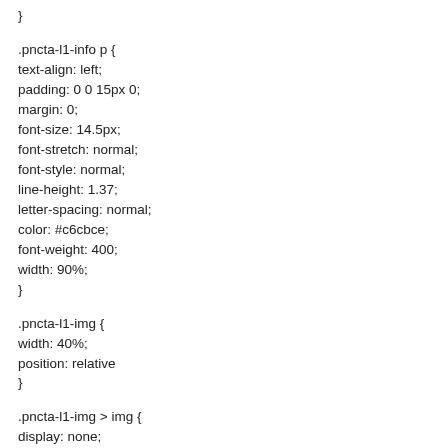}
.pncta-l1-info p {
text-align: left;
padding: 0 0 15px 0;
margin: 0;
font-size: 14.5px;
font-stretch: normal;
font-style: normal;
line-height: 1.37;
letter-spacing: normal;
color: #c6cbce;
font-weight: 400;
width: 90%;
}
.pncta-l1-img {
width: 40%;
position: relative
}
.pncta-l1-img > img {
display: none;
margin: 0;